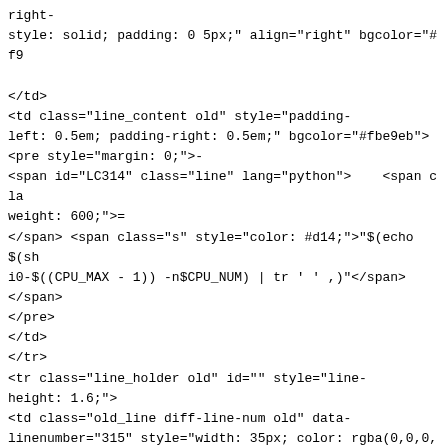right-
style: solid; padding: 0 5px;" align="right" bgcolor="#f9

</td>
<td class="line_content old" style="padding-
left: 0.5em; padding-right: 0.5em;" bgcolor="#fbe9eb">
<pre style="margin: 0;">-
<span id="LC314" class="line" lang="python">    <span cla
weight: 600;">= 
</span> <span class="s" style="color: #d14;">"$(echo $(sh
i0-$((CPU_MAX - 1)) -n$CPU_NUM) | tr ' ' ,)"</span>
</span>
</pre>
</td>
</tr>
<tr class="line_holder old" id="" style="line-
height: 1.6;">
<td class="old_line diff-line-num old" data-
linenumber="315" style="width: 35px; color: rgba(0,0,0,0
right-width: 1px; border-right-color: #fac5cd; border-
right-
style: solid; padding: 0 5px;" align="right" bgcolor="#f9
315
</td>
<td class="new_line diff-line-num old" data-
linenumber="328" style="width: 35px; color: rgba(0,0,0,0
right-width: 1px; border-right-color: #fac5cd; border-
right-
style: solid; padding: 0 5px;" align="right" bgcolor="#f9